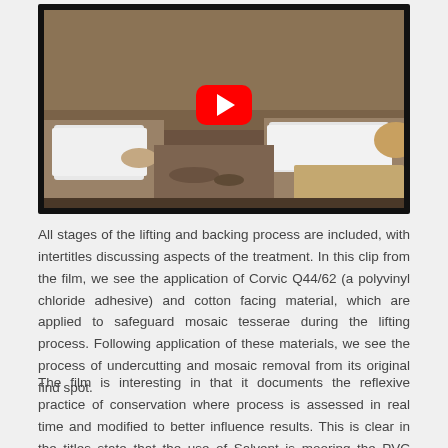[Figure (screenshot): YouTube video thumbnail showing archaeologists lying on the ground working at an excavation site, lifting and backing a mosaic. A red YouTube play button is overlaid in the center.]
All stages of the lifting and backing process are included, with intertitles discussing aspects of the treatment. In this clip from the film, we see the application of Corvic Q44/62 (a polyvinyl chloride adhesive) and cotton facing material, which are applied to safeguard mosaic tesserae during the lifting process. Following application of these materials, we see the process of undercutting and mosaic removal from its original find spot.
The film is interesting in that it documents the reflexive practice of conservation where process is assessed in real time and modified to better influence results. This is clear in the titles state that the use of Salvent is mooring the PVC adhe...